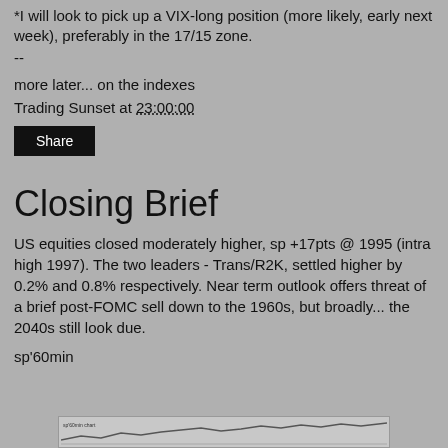*I will look to pick up a VIX-long position (more likely, early next week), preferably in the 17/15 zone.
--
more later... on the indexes
Trading Sunset at 23:00:00
Share
Closing Brief
US equities closed moderately higher, sp +17pts @ 1995 (intra high 1997). The two leaders - Trans/R2K, settled higher by 0.2% and 0.8% respectively. Near term outlook offers threat of a brief post-FOMC sell down to the 1960s, but broadly... the 2040s still look due.
sp'60min
[Figure (screenshot): Partial screenshot of a financial/trading chart (sp 60min), visible at the bottom edge of the page.]